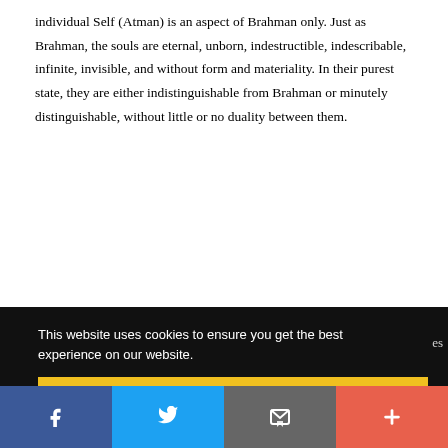individual Self (Atman) is an aspect of Brahman only. Just as Brahman, the souls are eternal, unborn, indestructible, indescribable, infinite, invisible, and without form and materiality. In their purest state, they are either indistinguishable from Brahman or minutely distinguishable, without little or no duality between them.
This website uses cookies to ensure you get the best experience on our website.
Got it!
[Figure (other): Social share bar with Facebook, Twitter, email/bookmark, and more (+) buttons]